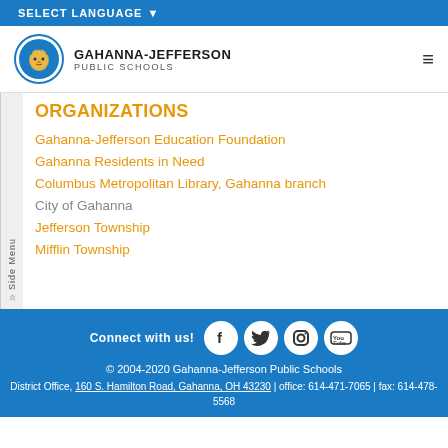SELECT LANGUAGE ▼
[Figure (logo): Gahanna-Jefferson Public Schools lion mascot logo in blue circle]
GAHANNA-JEFFERSON PUBLIC SCHOOLS
ORGANIZATIONS
Gahanna-Jefferson Education Foundation
Gahanna Residents in Need
Columbus Metropolitan Library, Gahanna branch
City of Gahanna
Jefferson Township
Mifflin Township
Connect with us! © 2004-2020 Gahanna-Jefferson Public Schools District Office, 160 S. Hamilton Road, Gahanna, OH 43230 | office: 614-471-7065 | fax: 614-478-5568